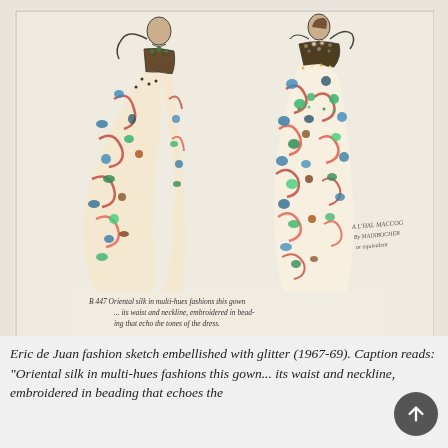[Figure (illustration): Fashion sketch by Eric de Juan showing two figures wearing long gowns made of colorful oriental silk with multi-hued floral pattern in reds, blues, greens, and oranges. The gowns feature embellished waists and necklines with beading/glitter. Handwritten caption at bottom of sketch reads: 'B 447 Oriental silk in multi-hues fashions this gown ... its waist and neckline, embroidered in beading that echo the tones of the dress.']
Eric de Juan fashion sketch embellished with glitter (1967-69). Caption reads: "Oriental silk in multi-hues fashions this gown... its waist and neckline, embroidered in beading that echoes the